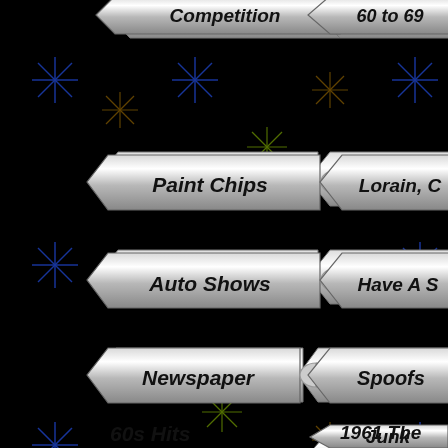[Figure (illustration): Navigation menu page with chrome/silver arrow badge buttons on black background with retro starburst decorations. Visible menu items: Competition (partial top), Paint Chips, Auto Shows, Newspaper, Other Stuff, 60s Hits (partial bottom), and on the right side: 60 to 69 (partial), Lorain C (partial), Have A S (partial), Spoofs, Junk, 1961 The (partial).]